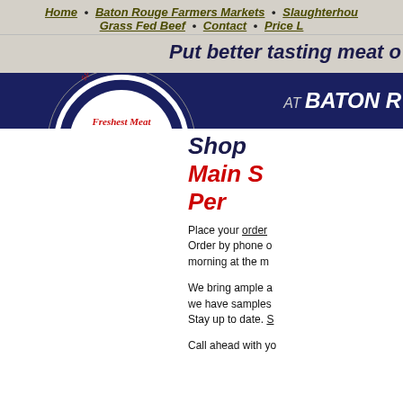Home • Baton Rouge Farmers Markets • Slaughterhouse • Grass Fed Beef • Contact • Price List
Put better tasting meat o...
[Figure (logo): Cutrer's Meat Market & Slaughterhouse circular logo with blue border, red banner, white text reading CUTRER'S, Freshest Meat, Specially Prepared, Superior Flavor, No Preservatives]
AT BATON R...
Shop...
Main S...
Per...
Place your order... Order by phone o... morning at the m...
We bring ample a... we have samples... Stay up to date. S...
Call ahead with yo... other meats to you... or you may orde...